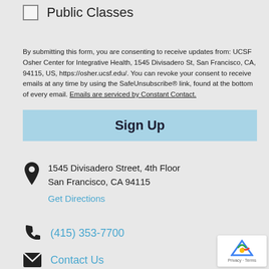Public Classes
By submitting this form, you are consenting to receive updates from: UCSF Osher Center for Integrative Health, 1545 Divisadero St, San Francisco, CA, 94115, US, https://osher.ucsf.edu/. You can revoke your consent to receive emails at any time by using the SafeUnsubscribe® link, found at the bottom of every email. Emails are serviced by Constant Contact.
Sign Up
1545 Divisadero Street, 4th Floor
San Francisco, CA 94115
Get Directions
(415) 353-7700
Contact Us